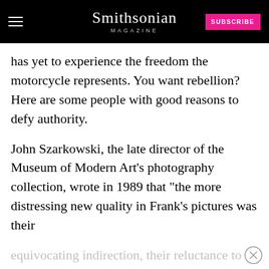Smithsonian MAGAZINE
has yet to experience the freedom the motorcycle represents. You want rebellion? Here are some people with good reasons to defy authority.
John Szarkowski, the late director of the Museum of Modern Art's photography collection, wrote in 1989 that "the more distressing new quality in Frank's pictures was their
equivocating indirection, their reluctance to state their subject matter directly, or their moral.
[Figure (screenshot): Advertisement banner: Quaker/Museum Day promotion - YOU COULD WIN A MUSEUM FIELD TRIP TO D.C. with LEARN MORE button]